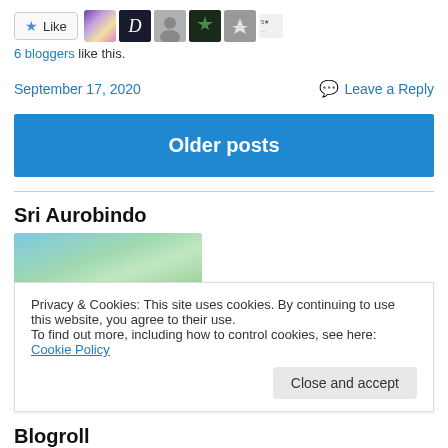[Figure (other): Like button with star icon and 5 blogger avatar thumbnails]
6 bloggers like this.
September 17, 2020      Leave a Reply
Older posts
Sri Aurobindo
[Figure (photo): Partial nature/ocean photo in teal and green tones]
Privacy & Cookies: This site uses cookies. By continuing to use this website, you agree to their use.
To find out more, including how to control cookies, see here: Cookie Policy
Close and accept
Blogroll